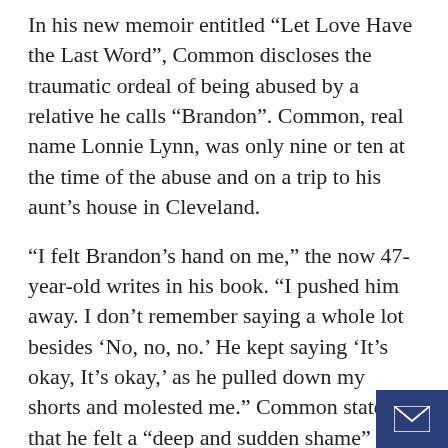In his new memoir entitled “Let Love Have the Last Word”, Common discloses the traumatic ordeal of being abused by a relative he calls “Brandon”. Common, real name Lonnie Lynn, was only nine or ten at the time of the abuse and on a trip to his aunt’s house in Cleveland.
“I felt Brandon’s hand on me,” the now 47-year-old writes in his book. “I pushed him away. I don’t remember saying a whole lot besides ‘No, no, no.’ He kept saying ‘It’s okay, It’s okay,’ as he pulled down my shorts and molested me.” Common states that he felt a “deep and sudden shame” about what happened, and the memory remained buried over the years.
USA Today reported the Oscar and Grammy-winning celebrity discovered the abuse w... rehearsing for his movie “The Tale” with...